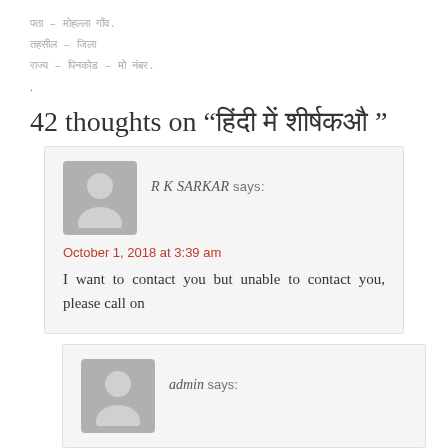पता – मोहल्ला गाँव.
तहसील – जिला
राज्य – पिनकोड – मो नंबर.
.
42 thoughts on “हिंदी में शीर्षक”
R K SARKAR says:
October 1, 2018 at 3:39 am
I want to contact you but unable to contact you, please call on
admin says: